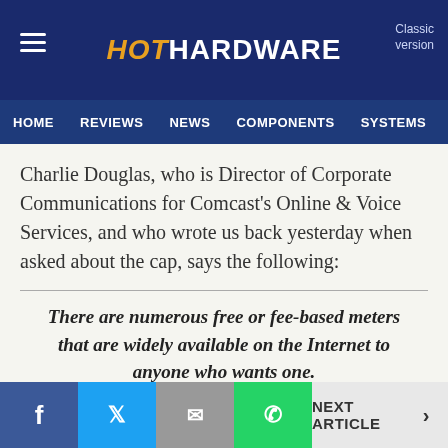HotHardware — Classic version | HOME REVIEWS NEWS COMPONENTS SYSTEMS IT/EN
Charlie Douglas, who is Director of Corporate Communications for Comcast's Online & Voice Services, and who wrote us back yesterday when asked about the cap, says the following:
There are numerous free or fee-based meters that are widely available on the Internet to anyone who wants one.
Ah, OK. So if we want to know our usage so we don't go
NEXT ARTICLE >